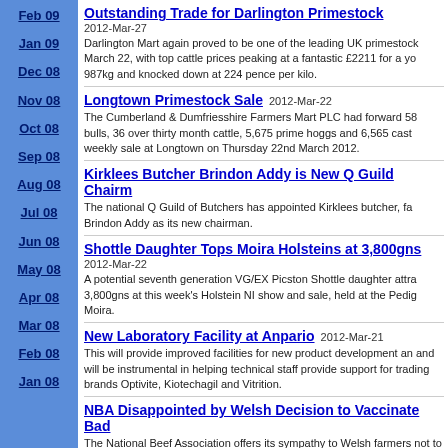Feb 09
Jan 09
Dec 08
Nov 08
Oct 08
Sep 08
Aug 08
Jul 08
Jun 08
May 08
Apr 08
Mar 08
Feb 08
Jan 08
Outstanding Trade for Darlington Primestock
2012-Mar-27
Darlington Mart again proved to be one of the leading UK primestock March 22, with top cattle prices peaking at a fantastic £2211 for a yo 987kg and knocked down at 224 pence per kilo.
Longtown Primestock Sale 2012-Mar-22
The Cumberland & Dumfriesshire Farmers Mart PLC had forward 58 bulls, 36 over thirty month cattle, 5,675 prime hoggs and 6,565 cast weekly sale at Longtown on Thursday 22nd March 2012.
Kirklees Butcher Brindon Addy is New Q Guild Chairm
The national Q Guild of Butchers has appointed Kirklees butcher, fa Brindon Addy as its new chairman.
Shottle Daughter Tops Moira Holsteins at 3,800gns
2012-Mar-22
A potential seventh generation VG/EX Picston Shottle daughter attra 3,800gns at this week's Holstein NI show and sale, held at the Pedig Moira.
New Laboratory Facility at Anpario 2012-Mar-21
This will provide improved facilities for new product development an and will be instrumental in helping technical staff provide support for trading brands Optivite, Kiotechagil and Vitrition.
NBA Disappointed by Welsh Decision to Vaccinate Bad
The National Beef Association offers its sympathy to Welsh farmers not to cull badgers but embark on a vaccination programme instead.
Maximise Value of Spring Grass Asset to Give Lam...